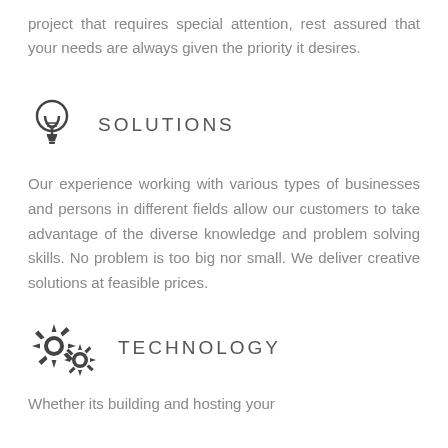project that requires special attention, rest assured that your needs are always given the priority it desires.
SOLUTIONS
Our experience working with various types of businesses and persons in different fields allow our customers to take advantage of the diverse knowledge and problem solving skills. No problem is too big nor small. We deliver creative solutions at feasible prices.
TECHNOLOGY
Whether its building and hosting your